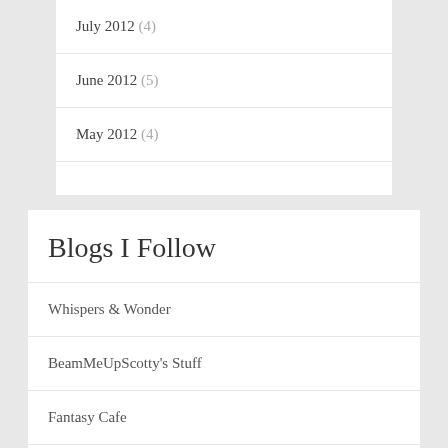July 2012 (4)
June 2012 (5)
May 2012 (4)
Blogs I Follow
Whispers & Wonder
BeamMeUpScotty's Stuff
Fantasy Cafe
Todd McCaffrey